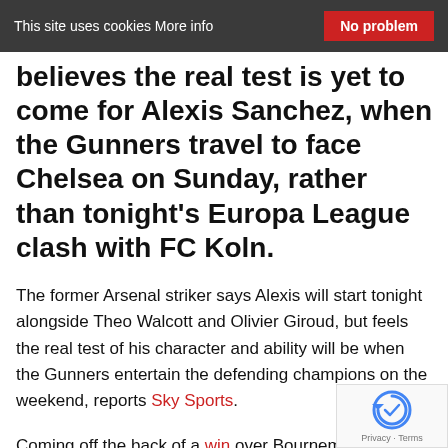This site uses cookies More info   No problem
believes the real test is yet to come for Alexis Sanchez, when the Gunners travel to face Chelsea on Sunday, rather than tonight's Europa League clash with FC Koln.
The former Arsenal striker says Alexis will start tonight alongside Theo Walcott and Olivier Giroud, but feels the real test of his character and ability will be when the Gunners entertain the defending champions on the weekend, reports Sky Sports.
Coming off the back of a win over Bournemouth which saw Alexis Sanchez return after his near-move to Manchester City on transfer deadline day, I believe things are some looking up for Arsenal.